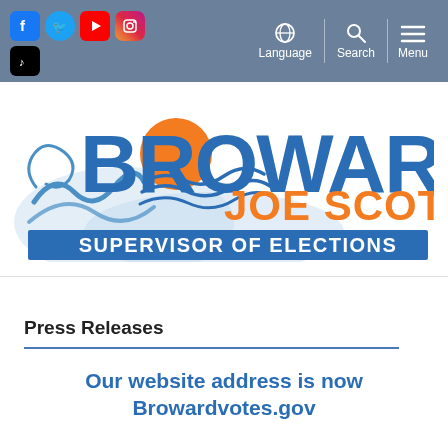[Figure (screenshot): Navigation bar with social media icons (Facebook, Twitter, YouTube, Instagram, TikTok) on the left and Language, Search, Menu navigation items on the right, on a blue-gray background]
[Figure (logo): Broward Joe Scott Supervisor of Elections logo with orange sun, blue waves, and blue/orange text on white background]
Press Releases
Our website address is now Browardvotes.gov